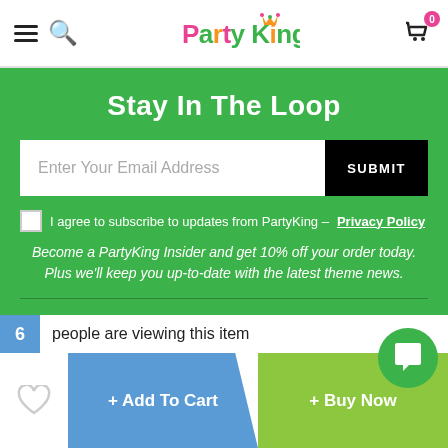[Figure (screenshot): Party King website header with hamburger menu, search icon, Party King logo, and shopping cart with badge showing 0]
Stay In The Loop
[Figure (other): Email subscription form with text input 'Enter Your Email Address' and black SUBMIT button]
I agree to subscribe to updates from PartyKing - Privacy Policy
Become a PartyKing Insider and get 10% off your order today. Plus we'll keep you up-to-date with the latest theme news.
About Us
Contact Us
6 people are viewing this item
+ Add To Cart
+ Buy Now